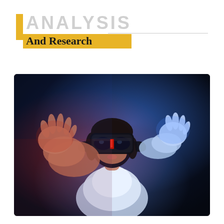ANALYSIS And Research
[Figure (photo): Woman wearing a VR headset with both hands raised, illuminated by blue and red neon lighting against a dark background. She is wearing a white t-shirt.]